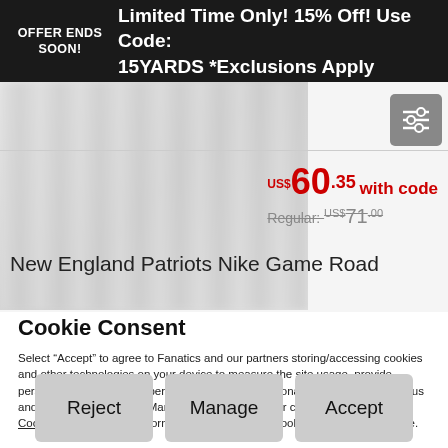OFFER ENDS SOON! Limited Time Only! 15% Off! Use Code: 15YARDS *Exclusions Apply
[Figure (screenshot): Blurred product image placeholder]
US$60.35 with code
Regular: US$71.00
New England Patriots Nike Game Road...
Cookie Consent
Select “Accept” to agree to Fanatics and our partners storing/accessing cookies and other technologies on your device to measure the site usage, provide personalised shopping experience, and deliver personalised advertising from us and our partners. Select “Manage” to customise your cookie settings. See our Cookie Notice for more information and to change cookie settings in the future.
Reject
Manage
Accept